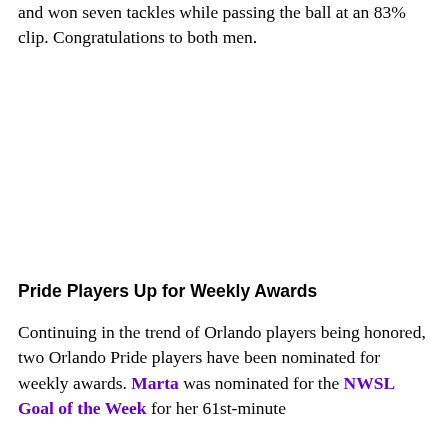and won seven tackles while passing the ball at an 83% clip. Congratulations to both men.
Pride Players Up for Weekly Awards
Continuing in the trend of Orlando players being honored, two Orlando Pride players have been nominated for weekly awards. Marta was nominated for the NWSL Goal of the Week for her 61st-minute